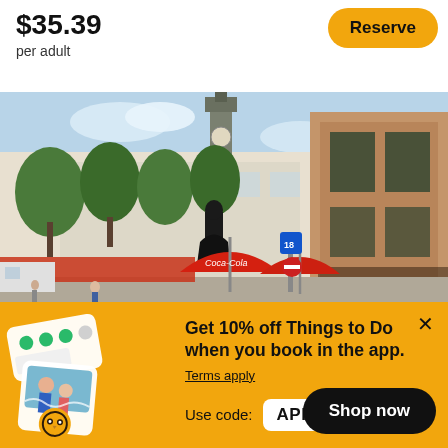$35.39
per adult
Reserve
[Figure (photo): Street scene in a European city with outdoor cafe umbrellas (red Coca-Cola branded), a statue, a clock tower in the background, trees, and historic buildings with shops on the right side.]
Get 10% off Things to Do when you book in the app.
Terms apply
Use code:
APP10
Shop now